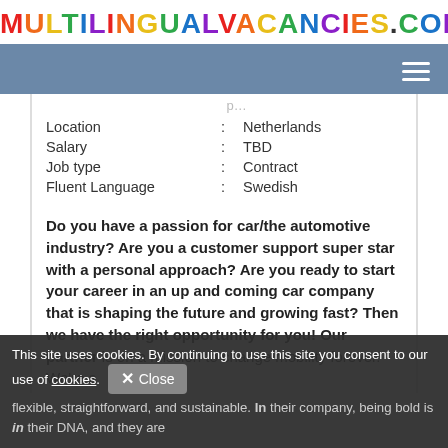MULTILINGUALVACANCIES.COM
| Location | Netherlands |
| Salary | TBD |
| Job type | Contract |
| Fluent Language | Swedish |
Do you have a passion for car/the automotive industry? Are you a customer support super star with a personal approach? Are you ready to start your career in an up and coming car company that is shaping the future and growing fast? Then we have the right opportunity for you! Our partner is on a mission to change mobility forever. We're a flexible, straightforward, and sustainable. In their company, being bold is in their DNA, and they are
This site uses cookies. By continuing to use this site you consent to our use of cookies. Close